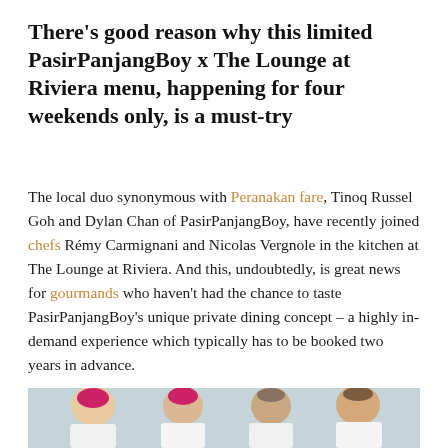There's good reason why this limited PasirPanjangBoy x The Lounge at Riviera menu, happening for four weekends only, is a must-try
The local duo synonymous with Peranakan fare, Tinoq Russel Goh and Dylan Chan of PasirPanjangBoy, have recently joined chefs Rémy Carmignani and Nicolas Vergnole in the kitchen at The Lounge at Riviera. And this, undoubtedly, is great news for gourmands who haven't had the chance to taste PasirPanjangBoy's unique private dining concept – a highly in-demand experience which typically has to be booked two years in advance.
[Figure (photo): Four chefs in white uniforms standing together and smiling. Two on the left have pink/magenta hair. Photo taken in what appears to be a kitchen or restaurant setting with a light blue-grey background.]